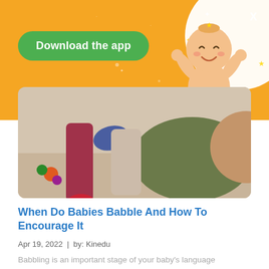[Figure (illustration): Orange app promotion banner with green 'Download the app' button, cartoon baby illustration on right, white circle background, decorative stars, and X close button]
[Figure (photo): Photo of baby lying on floor with colorful toys, adult legs visible nearby in pink/red clothing]
When Do Babies Babble And How To Encourage It
Apr 19, 2022  |  by: Kinedu
Babbling is an important stage of your baby's language development. Would you like to know when do babies babble and…